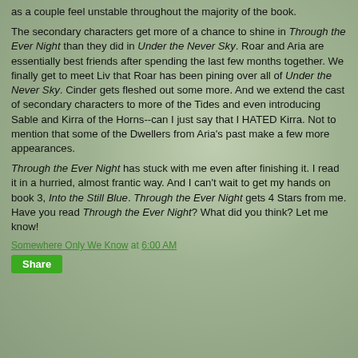as a couple feel unstable throughout the majority of the book.

The secondary characters get more of a chance to shine in Through the Ever Night than they did in Under the Never Sky. Roar and Aria are essentially best friends after spending the last few months together. We finally get to meet Liv that Roar has been pining over all of Under the Never Sky. Cinder gets fleshed out some more. And we extend the cast of secondary characters to more of the Tides and even introducing Sable and Kirra of the Horns--can I just say that I HATED Kirra. Not to mention that some of the Dwellers from Aria's past make a few more appearances.

Through the Ever Night has stuck with me even after finishing it. I read it in a hurried, almost frantic way. And I can't wait to get my hands on book 3, Into the Still Blue. Through the Ever Night gets 4 Stars from me. Have you read Through the Ever Night? What did you think? Let me know!
Somewhere Only We Know at 6:00 AM
Share